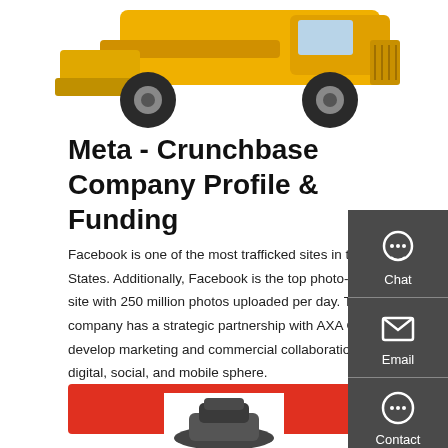[Figure (photo): Partial view of a yellow construction loader/wheel loader vehicle from above, showing front bucket and large tires]
Meta - Crunchbase Company Profile & Funding
Facebook is one of the most trafficked sites in the United States. Additionally, Facebook is the top photo-sharing site with 250 million photos uploaded per day. The company has a strategic partnership with AXA Group to develop marketing and commercial collaboration in the digital, social, and mobile sphere.
[Figure (infographic): Dark grey sidebar with Chat, Email, and Contact icons/buttons]
[Figure (other): Get a quote red call-to-action button]
[Figure (photo): Partial view of a dark mechanical part/shoe at bottom of page]